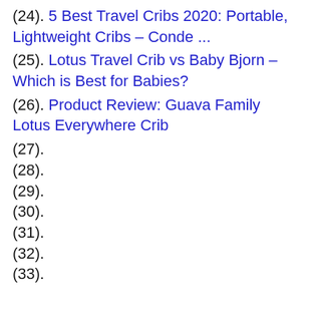(24). 5 Best Travel Cribs 2020: Portable, Lightweight Cribs – Conde ...
(25). Lotus Travel Crib vs Baby Bjorn – Which is Best for Babies?
(26). Product Review: Guava Family Lotus Everywhere Crib
(27).
(28).
(29).
(30).
(31).
(32).
(33).